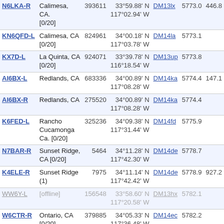| Callsign | Location | Node# | Coordinates | Grid | Freq | Extra |
| --- | --- | --- | --- | --- | --- | --- |
| N6LKA-R | Calimesa, CA. [0/20] | 393611 | 33°59.88' N 117°02.94' W | DM13lx | 5773.0 | 446.8 |
| KN6QFD-L | Calimesa, CA [0/20] | 824961 | 34°00.18' N 117°03.78' W | DM14la | 5773.1 |  |
| KX7D-L | La Quinta, CA [0/20] | 924071 | 33°39.78' N 116°18.54' W | DM13up | 5773.8 |  |
| AI6BX-L | Redlands, CA | 683336 | 34°00.89' N 117°08.28' W | DM14ka | 5774.4 | 147.1 |
| AI6BX-R | Redlands, CA | 275520 | 34°00.89' N 117°08.28' W | DM14ka | 5774.4 |  |
| K6FED-L | Rancho Cucamonga Ca. [0/20] | 325236 | 34°09.38' N 117°31.44' W | DM14fd | 5775.9 |  |
| N7BAR-R | Sunset Ridge, CA [0/20] | 5464 | 34°11.28' N 117°42.30' W | DM14de | 5778.7 |  |
| K4ELE-R | Sunset Ridge (1) | 7975 | 34°11.14' N 117°42.42' W | DM14de | 5778.9 | 927.2 |
| WW6Y-L [offline] | [offline] | 156548 | 33°58.60' N 117°20.58' W | DM13hx | 5782.1 |  |
| W6CTR-R | Ontario, CA [0/20] | 379885 | 34°05.33' N 117°36.48' W | DM14ec | 5782.2 |  |
| N6LIX-L | Ca [0/20] | 167003 | 34°06.42' N 117°39.06' W | DM14ec | 5782.2 |  |
| ad2lm-L [offline] | [offline] | 998042 | 34°05.27' N 117°43.08' W | DM14dc | 5785.2 |  |
| TG5RBH-R | Rep Huehue Guate [4/20] | 600003 | 34°04.34' N 117°43.63' W | DM14db | 5786.4 |  |